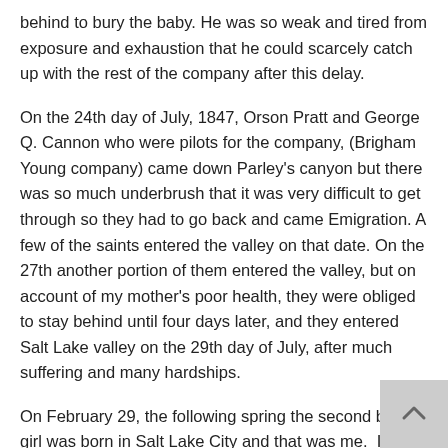behind to bury the baby. He was so weak and tired from exposure and exhaustion that he could scarcely catch up with the rest of the company after this delay.
On the 24th day of July, 1847, Orson Pratt and George Q. Cannon who were pilots for the company, (Brigham Young company) came down Parley's canyon but there was so much underbrush that it was very difficult to get through so they had to go back and came Emigration. A few of the saints entered the valley on that date. On the 27th another portion of them entered the valley, but on account of my mother's poor health, they were obliged to stay behind until four days later, and they entered Salt Lake valley on the 29th day of July, after much suffering and many hardships.
On February 29, the following spring the second baby girl was born in Salt Lake City and that was me.  In the spring of 1849 father went back to the Platt River to establish a ferry and help the saints to Salt Lake City. Later in the same year Brigham Young called he and some other men to move their families south to Sanpete County. They started a settlement which was called Manti. That winter and the following one, so much snow fell that